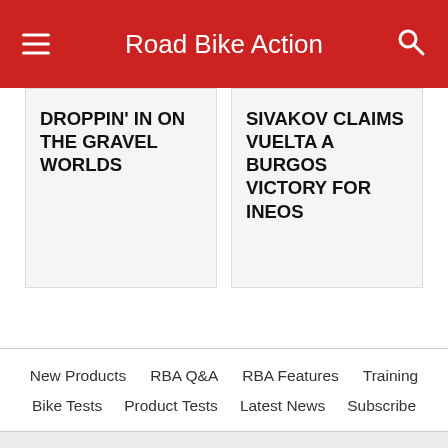Road Bike Action
DROPPIN' IN ON THE GRAVEL WORLDS
SIVAKOV CLAIMS VUELTA A BURGOS VICTORY FOR INEOS
New Products
RBA Q&A
RBA Features
Training
Bike Tests
Product Tests
Latest News
Subscribe
View Desktop Version